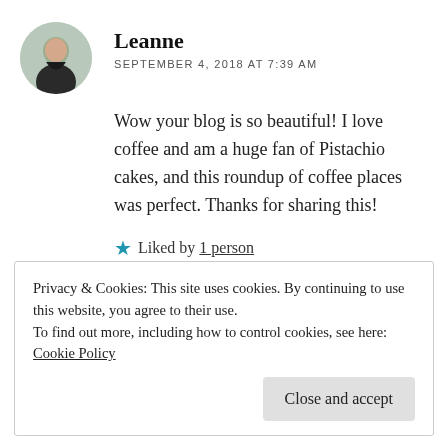Leanne
SEPTEMBER 4, 2018 AT 7:39 AM
Wow your blog is so beautiful! I love coffee and am a huge fan of Pistachio cakes, and this roundup of coffee places was perfect. Thanks for sharing this!
★ Liked by 1 person
↩ Reply
Privacy & Cookies: This site uses cookies. By continuing to use this website, you agree to their use.
To find out more, including how to control cookies, see here:
Cookie Policy
Close and accept